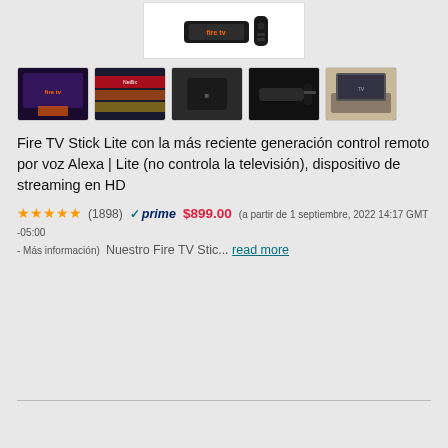[Figure (photo): Main product image of Amazon Fire TV Stick Lite device on white background]
[Figure (photo): Row of 5 thumbnail images of the Amazon Fire TV Stick Lite product showing different views and interfaces]
Fire TV Stick Lite con la más reciente generación control remoto por voz Alexa | Lite (no controla la televisión), dispositivo de streaming en HD
★★★★★ (1898) ✓ prime $899.00 (a partir de 1 septiembre, 2022 14:17 GMT -05:00 - Más información) Nuestro Fire TV Stic... read more